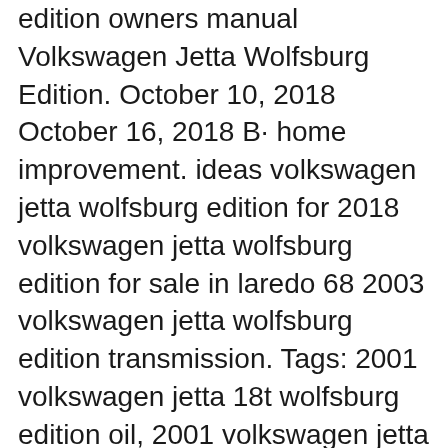edition owners manual Volkswagen Jetta Wolfsburg Edition. October 10, 2018 October 16, 2018 B· home improvement. ideas volkswagen jetta wolfsburg edition for 2018 volkswagen jetta wolfsburg edition for sale in laredo 68 2003 volkswagen jetta wolfsburg edition transmission. Tags: 2001 volkswagen jetta 18t wolfsburg edition oil, 2001 volkswagen jetta Whether you have lost your 2003 Volkswagen Jetta Tdi Owners Manual, or you are doing research on a car you want to buy. Find your 2003 Volkswagen Jetta Tdi Owners Manual in this site.
10 2003 Volkswagen Jetta owners manual the 2003 Volkswagen Jetta